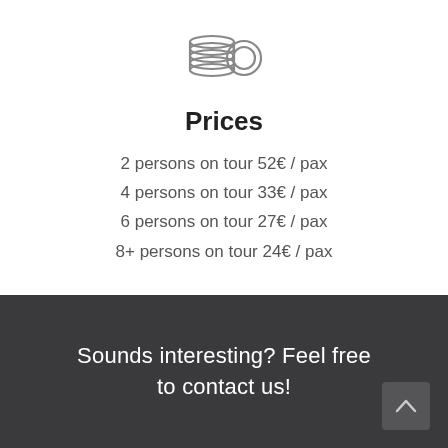[Figure (illustration): Stack of coins icon in gray outline style]
Prices
2 persons on tour 52€ / pax
4 persons on tour 33€ / pax
6 persons on tour 27€ / pax
8+ persons on tour 24€ / pax
Sounds interesting? Feel free to contact us!